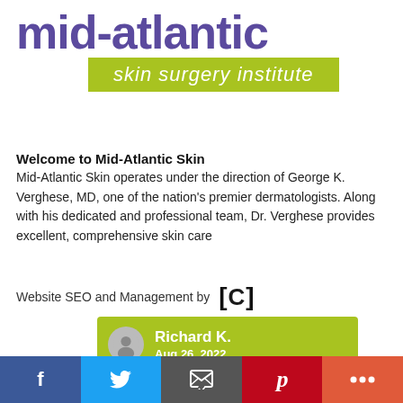[Figure (logo): Mid-Atlantic Skin Surgery Institute logo with purple text and green banner]
Welcome to Mid-Atlantic Skin
Mid-Atlantic Skin operates under the direction of George K. Verghese, MD, one of the nation's premier dermatologists. Along with his dedicated and professional team, Dr. Verghese provides excellent, comprehensive skin care
Website SEO and Management by [C]
[Figure (screenshot): Review card: Richard K., Aug 26, 2022 on green background with avatar]
5.0 ★★★★★
[Figure (infographic): Social media bar with Facebook, Twitter, Email, Pinterest, and More buttons]